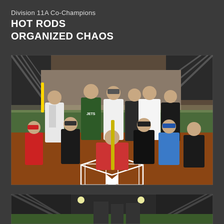Division 11A Co-Champions HOT RODS ORGANIZED CHAOS
[Figure (photo): Group photo of softball/baseball team members posing at home plate on an indoor/covered field. Players in various team jerseys including Jets, red baseball jersey, and black shirts. One player holds a yellow bat vertically.]
[Figure (photo): Partial photo at bottom of page showing a covered baseball/softball field with overhead lights visible.]